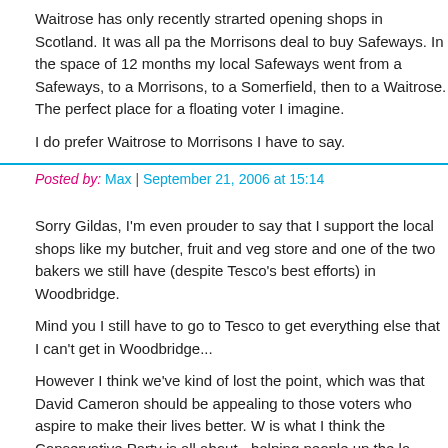Waitrose has only recently strarted opening shops in Scotland. It was all pa... the Morrisons deal to buy Safeways. In the space of 12 months my local Safeways went from a Safeways, to a Morrisons, to a Somerfield, then to a Waitrose. The perfect place for a floating voter I imagine.
I do prefer Waitrose to Morrisons I have to say.
Posted by: Max | September 21, 2006 at 15:14
Sorry Gildas, I'm even prouder to say that I support the local shops like my butcher, fruit and veg store and one of the two bakers we still have (despite Tesco's best efforts) in Woodbridge.
Mind you I still have to go to Tesco to get everything else that I can't get in Woodbridge...
However I think we've kind of lost the point, which was that David Cameron should be appealing to those voters who aspire to make their lives better. W... is what I think the Conservative Party is all about - helping people up the la... Whereas Labour wants to keep them down in the gutter so they keep voting them.
Posted by: Ben Redsell | September 21, 2006 at 15:23